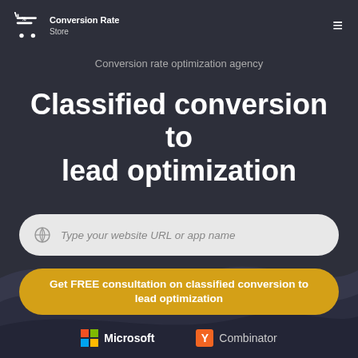Conversion Rate Store
Conversion rate optimization agency
Classified conversion to lead optimization
Type your website URL or app name
Get FREE consultation on classified conversion to lead optimization
[Figure (logo): Microsoft logo with colored grid and text]
[Figure (logo): Y Combinator logo with orange badge and text]